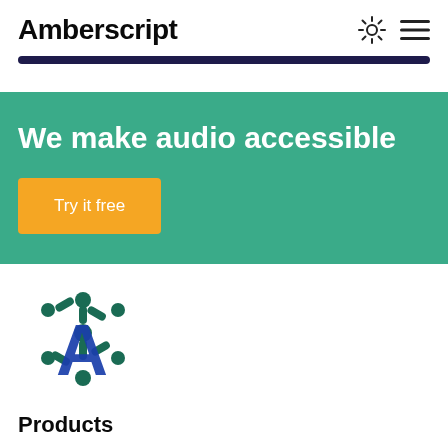Amberscript
[Figure (other): Dark navy progress/loading bar]
We make audio accessible
Try it free
[Figure (logo): Amberscript logo: green molecular/network icon overlaid with blue letter A]
Products